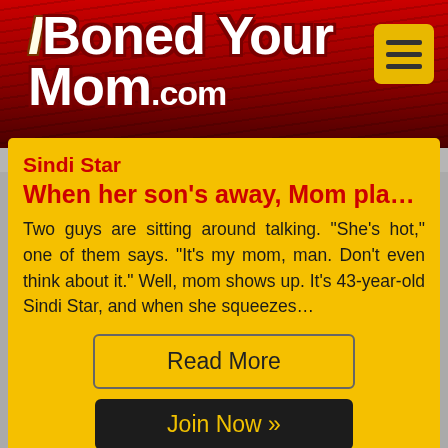IBonedYourMom.com
Sindi Star
When her son's away, Mom pla…
Two guys are sitting around talking. "She's hot," one of them says. "It's my mom, man. Don't even think about it." Well, mom shows up. It's 43-year-old Sindi Star, and when she squeezes…
Read More
Join Now »